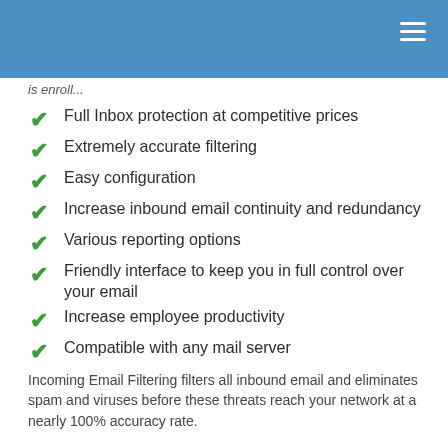is enroll...
Full Inbox protection at competitive prices
Extremely accurate filtering
Easy configuration
Increase inbound email continuity and redundancy
Various reporting options
Friendly interface to keep you in full control over your email
Increase employee productivity
Compatible with any mail server
Incoming Email Filtering filters all inbound email and eliminates spam and viruses before these threats reach your network at a nearly 100% accuracy rate.